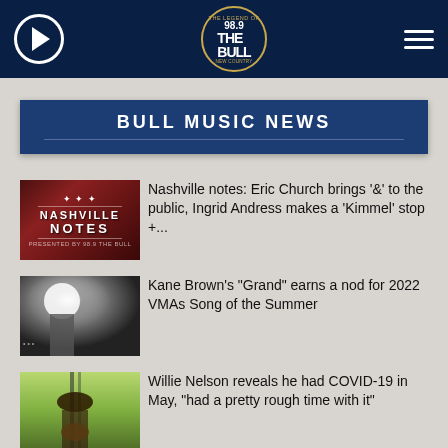98.9 The Bull - Bull Music News
BULL MUSIC NEWS
[Figure (photo): Nashville Notes graphic with dark red background and star logo]
Nashville notes: Eric Church brings '&' to the public, Ingrid Andress makes a 'Kimmel' stop +...
[Figure (photo): Kane Brown performing on stage with bright stage lighting]
Kane Brown's "Grand" earns a nod for 2022 VMAs Song of the Summer
[Figure (photo): Willie Nelson performing outdoors wearing cowboy hat and playing guitar]
Willie Nelson reveals he had COVID-19 in May, "had a pretty rough time with it"